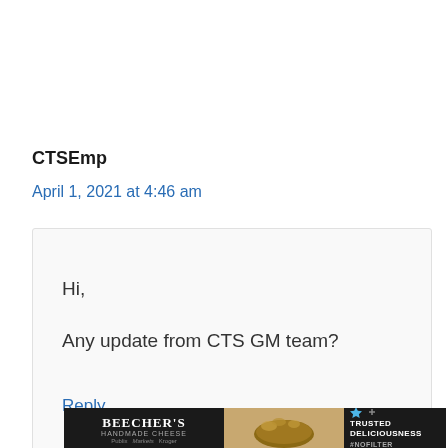CTSEmp
April 1, 2021 at 4:46 am
Hi,

Any update from CTS GM team?
Reply
[Figure (photo): Beecher's Handmade Cheese advertisement banner with mac and cheese image and 'Trusted Deliciousness #NoFilter' text]